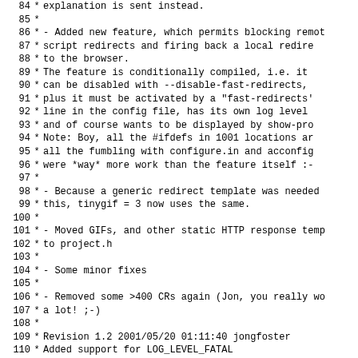Source code comment block, lines 84-115, showing changelog entries for a software project including features added, GIF handling, bug fixes, and revision history.